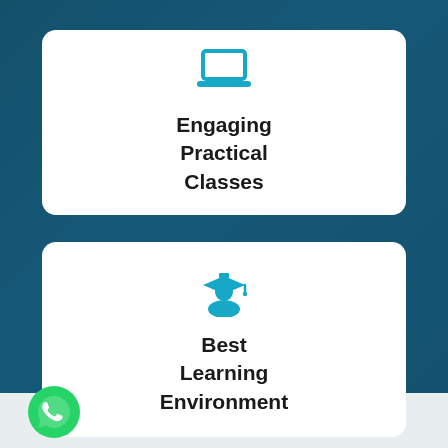[Figure (infographic): White card with laptop icon and text 'Engaging Practical Classes' on a teal background]
[Figure (infographic): White card with graduation cap/student icon and text 'Best Learning Environment' on a teal background]
[Figure (logo): Green WhatsApp button circle with phone handset icon at bottom left]